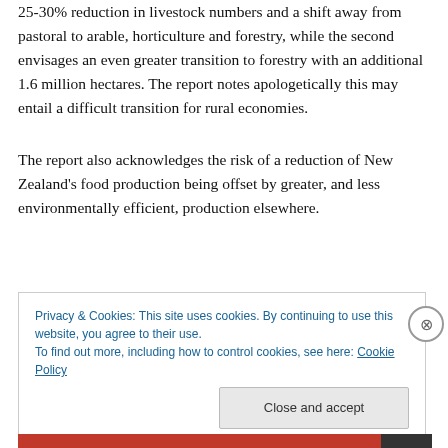25-30% reduction in livestock numbers and a shift away from pastoral to arable, horticulture and forestry, while the second envisages an even greater transition to forestry with an additional 1.6 million hectares. The report notes apologetically this may entail a difficult transition for rural economies.
The report also acknowledges the risk of a reduction of New Zealand's food production being offset by greater, and less environmentally efficient, production elsewhere.
Privacy & Cookies: This site uses cookies. By continuing to use this website, you agree to their use.
To find out more, including how to control cookies, see here: Cookie Policy